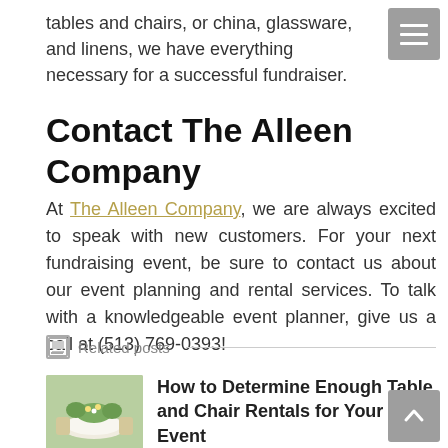tables and chairs, or china, glassware, and linens, we have everything necessary for a successful fundraiser.
Contact The Alleen Company
At The Alleen Company, we are always excited to speak with new customers. For your next fundraising event, be sure to contact us about our event planning and rental services. To talk with a knowledgeable event planner, give us a call at (513) 769-0393!
Related posts
[Figure (photo): Photo of outdoor event table setup with white linens and chairs]
How to Determine Enough Table and Chair Rentals for Your Event
December 14, 2019